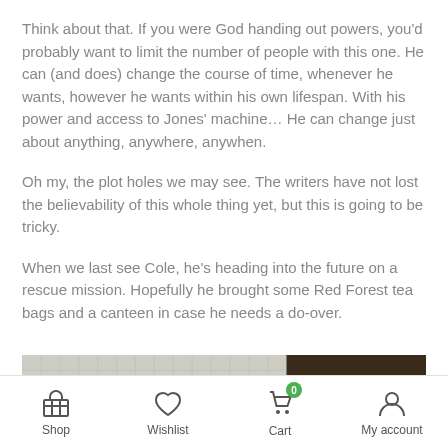Think about that. If you were God handing out powers, you'd probably want to limit the number of people with this one. He can (and does) change the course of time, whenever he wants, however he wants within his own lifespan. With his power and access to Jones' machine… He can change just about anything, anywhere, anywhen.
Oh my, the plot holes we may see. The writers have not lost the believability of this whole thing yet, but this is going to be tricky.
When we last see Cole, he's heading into the future on a rescue mission. Hopefully he brought some Red Forest tea bags and a canteen in case he needs a do-over.
[Figure (photo): A dark silhouette of a person against a gridded background, partially lit, with a darker brown/dark section on the right side.]
Shop   Wishlist   Cart 0   My account